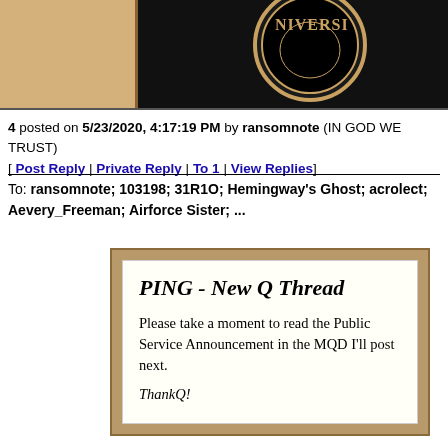[Figure (illustration): Top banner image showing a gold/tan decorative frame with a black section containing a circular seal or emblem with text 'NIVERSI' visible (partial university seal)]
4 posted on 5/23/2020, 4:17:19 PM by ransomnote (IN GOD WE TRUST)
[ Post Reply | Private Reply | To 1 | View Replies]
To: ransomnote; 103198; 31R1O; Hemingway's Ghost; acrolect; Aevery_Freeman; Airforce Sister; ...
[Figure (other): Card-style box with gold/tan border containing text: PING - New Q Thread. Please take a moment to read the Public Service Announcement in the MQD I'll post next. ThankQ!]